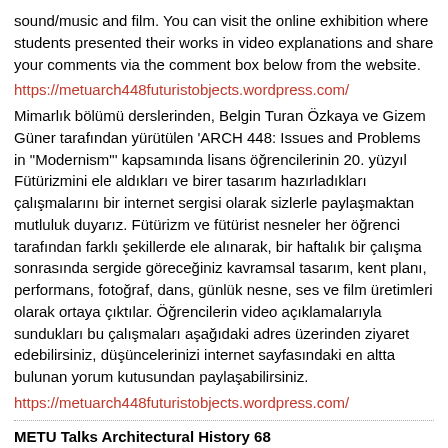sound/music and film. You can visit the online exhibition where students presented their works in video explanations and share your comments via the comment box below from the website.
https://metuarch448futuristobjects.wordpress.com/
Mimarlık bölümü derslerinden, Belgin Turan Özkaya ve Gizem Güner tarafından yürütülen 'ARCH 448: Issues and Problems in "Modernism"' kapsamında lisans öğrencilerinin 20. yüzyıl Fütürizmini ele aldıkları ve birer tasarım hazırladıkları çalışmalarını bir internet sergisi olarak sizlerle paylaşmaktan mutluluk duyarız. Fütürizm ve fütürist nesneler her öğrenci tarafından farklı şekillerde ele alınarak, bir haftalık bir çalışma sonrasında sergide göreceğiniz kavramsal tasarım, kent planı, performans, fotoğraf, dans, günlük nesne, ses ve film üretimleri olarak ortaya çıktılar. Öğrencilerin video açıklamalarıyla sundukları bu çalışmaları aşağıdaki adres üzerinden ziyaret edebilirsiniz, düşüncelerinizi internet sayfasındaki en altta bulunan yorum kutusundan paylaşabilirsiniz.
https://metuarch448futuristobjects.wordpress.com/
METU Talks Architectural History 68
ODTÜ Mimarlık Tarihi Konuşmalarının 68.si, 4 Ocak 2021 tarihinde Ufuk Soyöz'ün "Once upon a time in Bergamon: Reality and Representation in